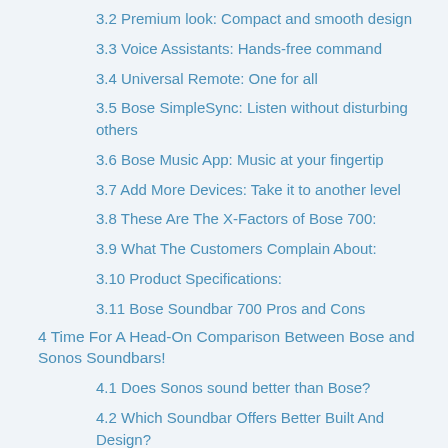3.2 Premium look: Compact and smooth design
3.3 Voice Assistants: Hands-free command
3.4 Universal Remote: One for all
3.5 Bose SimpleSync: Listen without disturbing others
3.6 Bose Music App: Music at your fingertip
3.7 Add More Devices: Take it to another level
3.8 These Are The X-Factors of Bose 700:
3.9 What The Customers Complain About:
3.10 Product Specifications:
3.11 Bose Soundbar 700 Pros and Cons
4 Time For A Head-On Comparison Between Bose and Sonos Soundbars!
4.1 Does Sonos sound better than Bose?
4.2 Which Soundbar Offers Better Built And Design?
4.3 Which Soundbar Delivers Better Connectivity Options?
4.4 Finally, Who Offers Better Convenience?
5 Overall Winner: Sonos Arc
6 FAQs